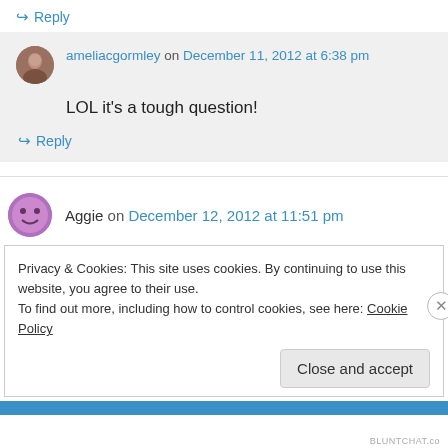↪ Reply
ameliacgormley on December 11, 2012 at 6:38 pm
LOL it's a tough question!
↪ Reply
Aggie on December 12, 2012 at 11:51 pm
Privacy & Cookies: This site uses cookies. By continuing to use this website, you agree to their use.
To find out more, including how to control cookies, see here: Cookie Policy
Close and accept